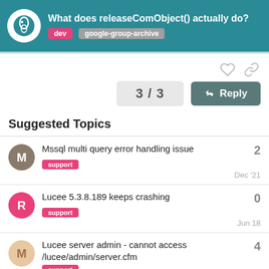What does releaseComObject() actually do? | dev | google-group-archive
3 / 3
Reply
Suggested Topics
Mssql multi query error handling issue | support | 2 | Dec '21
Lucee 5.3.8.189 keeps crashing | support | 0 | Jun 18
Lucee server admin - cannot access /lucee/admin/server.cfm | support | 4